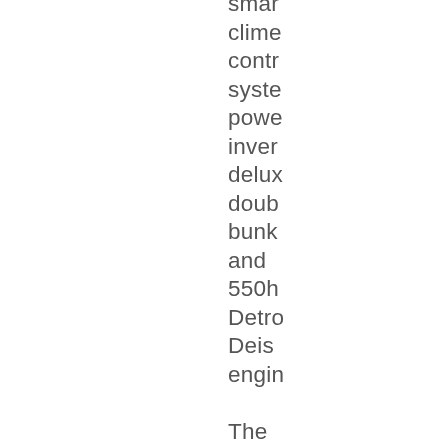smar climate control system power inver delux doub bunk and 550h Detro Deis engin The truck are perfo grea